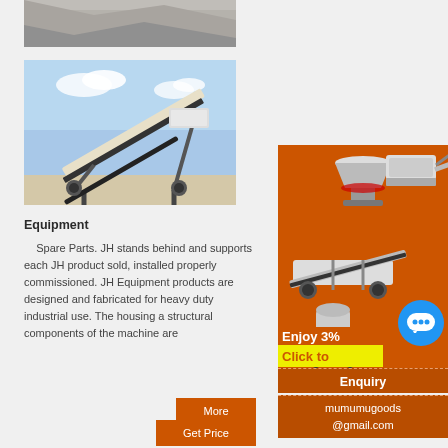[Figure (photo): Partial view of a stone/rock quarry or crusher site, cropped at the top]
[Figure (photo): Mining/quarrying conveyor and crusher equipment on a job site with blue sky background]
Equipment
Spare Parts. JH stands behind and supports each JH product sold, installed properly commissioned. JH Equipment products are designed and fabricated for heavy duty industrial use. The housing and structural components of the machine are
[Figure (illustration): Advertisement panel with orange background showing mining equipment machinery images, 'Enjoy 3%' text, 'Click to' text in yellow, a blue chat bubble circle, Enquiry section, and mumumugoods@gmail.com email]
More
Get Price